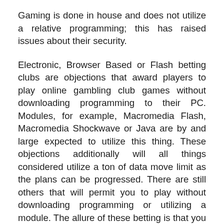Gaming is done in house and does not utilize a relative programming; this has raised issues about their security.
Electronic, Browser Based or Flash betting clubs are objections that award players to play online gambling club games without downloading programming to their PC. Modules, for example, Macromedia Flash, Macromedia Shockwave or Java are by and large expected to utilize this thing. These objections additionally will all things considered utilize a ton of data move limit as the plans can be progressed. There are still others that will permit you to play without downloading programming or utilizing a module. The allure of these betting is that you can play on open PCs, pounding perpetually or on any PC where others will see where you have been. The issue is that recommendation betting clubs offer fewer games and run slower than the full